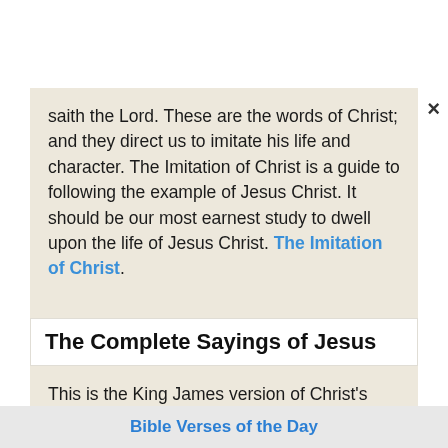saith the Lord. These are the words of Christ; and they direct us to imitate his life and character. The Imitation of Christ is a guide to following the example of Jesus Christ. It should be our most earnest study to dwell upon the life of Jesus Christ. The Imitation of Christ.
The Complete Sayings of Jesus
This is the King James version of Christ's own words. This collection organizes and presents every word spoken by Jesus in one place and provides an index to assist in finding specific
Bible Verses of the Day